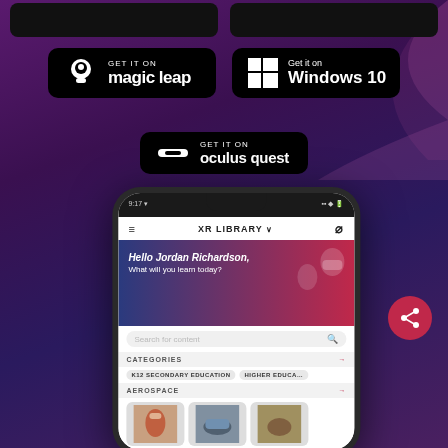[Figure (screenshot): Purple/dark gradient background with app store download buttons: Magic Leap, Windows 10, Oculus Quest, and a phone screenshot showing XR Library mobile app with user greeting, search bar, categories (K12 Secondary Education, Higher Education), Aerospace section, and content thumbnails. A pink share button is visible bottom right.]
[Figure (logo): GET IT ON magic leap store badge (black rounded rectangle with ghost icon)]
[Figure (logo): Get it on Windows 10 store badge (black rounded rectangle with Windows logo)]
[Figure (logo): GET IT ON oculus quest store badge (black rounded rectangle with Oculus logo)]
[Figure (screenshot): Mobile phone screenshot of XR Library app showing: status bar (9:17), XR LIBRARY header, Hello Jordan Richardson greeting banner with VR illustration, Search for content bar, CATEGORIES section with K12 SECONDARY EDUCATION and HIGHER EDUCATION tags, AEROSPACE section with three content thumbnails (astronaut, aircraft, other)]